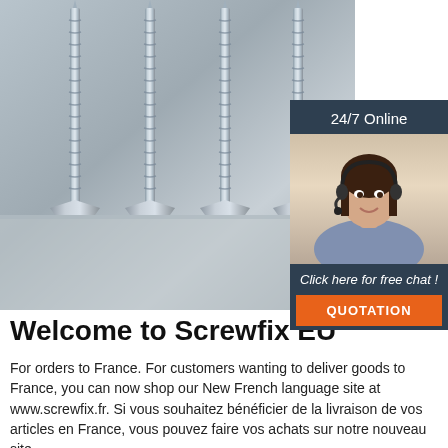[Figure (photo): Four silver/zinc self-drilling screws with countersunk heads standing upright on a grey surface, with a faint watermark text in the background. Overlaid on the right is a customer service chat widget showing '24/7 Online', a photo of a female customer service agent wearing a headset, and a 'QUOTATION' button.]
Welcome to Screwfix EU
For orders to France. For customers wanting to deliver goods to France, you can now shop our New French language site at www.screwfix.fr. Si vous souhaitez bénéficier de la livraison de vos articles en France, vous pouvez faire vos achats sur notre nouveau site